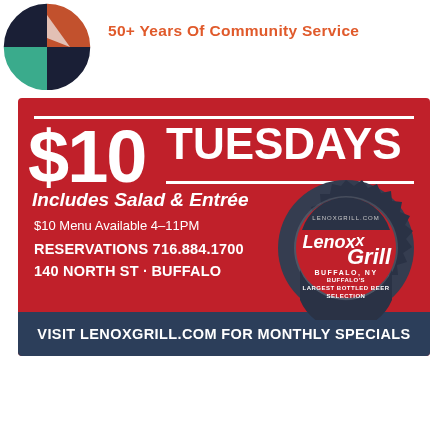[Figure (logo): Circular logo with dark background, partial view — organization logo showing colored segments]
50+ Years Of Community Service
[Figure (infographic): Red advertisement box for Lenox Grill restaurant featuring $10 Tuesdays promotion. Includes Salad & Entree. $10 Menu Available 4-11PM. Reservations 716.884.1700. 140 North ST · Buffalo. Visit LenoxGrill.com for Monthly Specials. Features Lenox Grill bottle cap logo with Buffalo's Largest Bottled Beer Selection.]